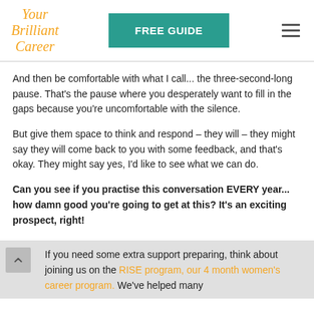Your Brilliant Career | FREE GUIDE
And then be comfortable with what I call... the three-second-long pause. That's the pause where you desperately want to fill in the gaps because you're uncomfortable with the silence.
But give them space to think and respond – they will – they might say they will come back to you with some feedback, and that's okay. They might say yes, I'd like to see what we can do.
Can you see if you practise this conversation EVERY year... how damn good you're going to get at this? It's an exciting prospect, right!
If you need some extra support preparing, think about joining us on the RISE program, our 4 month women's career program. We've helped many